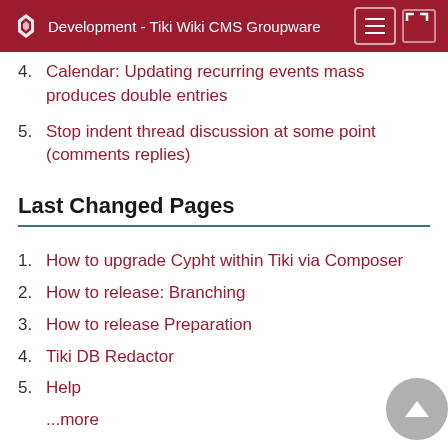Development - Tiki Wiki CMS Groupware
Calendar: Updating recurring events mass produces double entries
5. Stop indent thread discussion at some point (comments replies)
Last Changed Pages
1. How to upgrade Cypht within Tiki via Composer
2. How to release: Branching
3. How to release Preparation
4. Tiki DB Redactor
5. Help
...more
Useful Tools